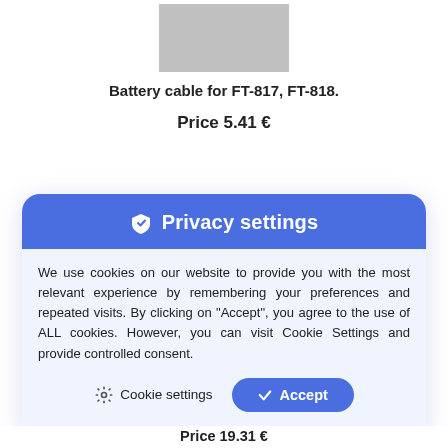[Figure (photo): Gray product image placeholder box]
Battery cable for FT-817, FT-818.
Price 5.41 €
[Figure (screenshot): Privacy settings cookie consent dialog overlay with blue header, body text about cookie usage, Cookie settings button and Accept button]
Price 19.31 €